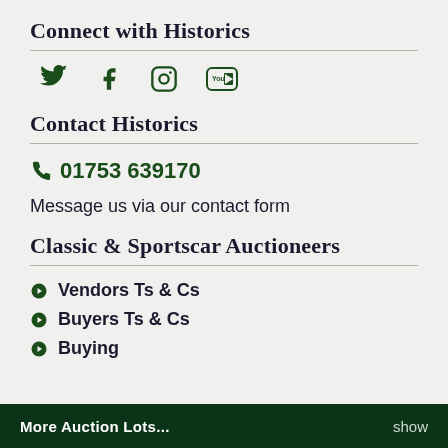Connect with Historics
[Figure (other): Social media icons: Twitter, Facebook, Instagram, YouTube in dark green]
Contact Historics
01753 639170
Message us via our contact form
Classic & Sportscar Auctioneers
Vendors Ts & Cs
Buyers Ts & Cs
Buying
More Auction Lots...    show